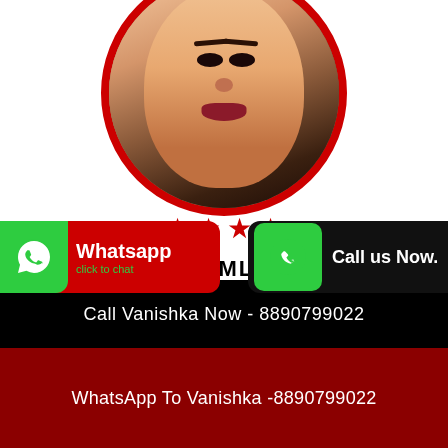[Figure (photo): Circular portrait photo of a woman with red border, shown in top half of page]
[Figure (illustration): Four red stars in a row]
SHIMLA
[Figure (photo): Circular portrait photo of a second woman with red border]
[Figure (logo): WhatsApp button with green phone icon on left and red background with text Whatsapp click to chat]
[Figure (logo): Call us Now button with green phone icon]
Call Vanishka Now - 8890799022
WhatsApp To Vanishka -8890799022